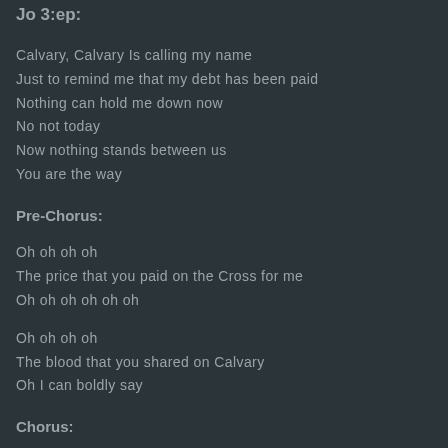Jo 3:ep:
Calvary, Calvary Is calling my name
Just to remind me that my debt has been paid
Nothing can hold me down now
No not today
Now nothing stands between us
You are the way
Pre-Chorus:
Oh oh oh oh
The price that you paid on the Cross for me
Oh oh oh oh oh oh
Oh oh oh oh
The blood that you shared on Calvary
Oh I can boldly say
Chorus: